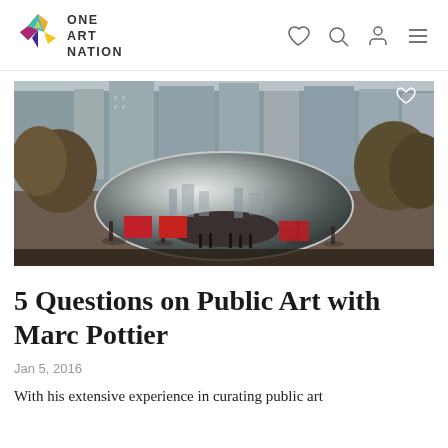[Figure (logo): One Art Nation logo with colorful bird/star shape and text ONE ART NATION]
[Figure (photo): Photo of the Cloud Gate (Bean) sculpture in Millennium Park, Chicago, with city buildings and trees in background, people in foreground]
5 Questions on Public Art with Marc Pottier
Jan 5, 2016
With his extensive experience in curating public art